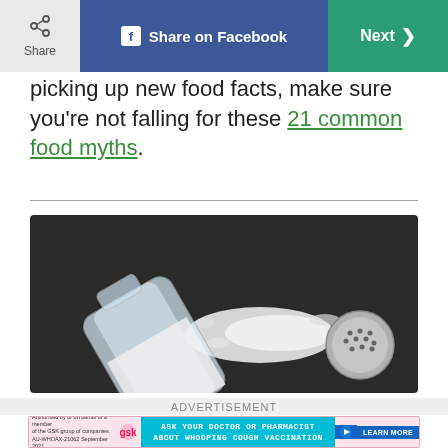Share | Share on Facebook | Next >
picking up new food facts, make sure you're not falling for these 21 common food myths.
[Figure (photo): A glass salt shaker tipped on its side on a dark surface, with salt spilled out and the metal cap beside it.]
ADVERTISEMENT
[Figure (other): Advertisement banner: Ask your doctor or pharmacist about whooping cough vaccination. Learn More.]